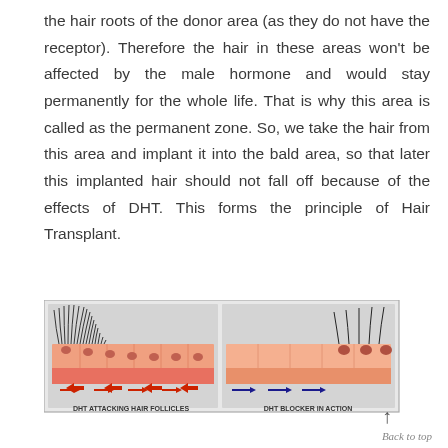the hair roots of the donor area (as they do not have the receptor). Therefore the hair in these areas won't be affected by the male hormone and would stay permanently for the whole life. That is why this area is called as the permanent zone. So, we take the hair from this area and implant it into the bald area, so that later this implanted hair should not fall off because of the effects of DHT. This forms the principle of Hair Transplant.
[Figure (illustration): Diagram showing two panels: left panel labeled 'DHT ATTACKING HAIR FOLLICLES' showing hair follicles with red arrows indicating DHT attack causing hair loss; right panel labeled 'DHT BLOCKER IN ACTION' showing follicles with dark blue/navy arrows indicating DHT blocker preserving hair growth.]
Back to top